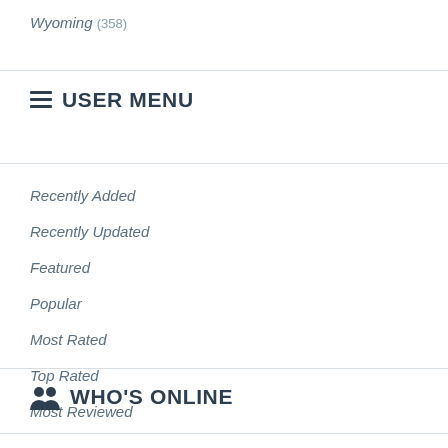Wyoming (358)
☰ USER MENU
Recently Added
Recently Updated
Featured
Popular
Most Rated
Top Rated
Most Reviewed
WHO'S ONLINE